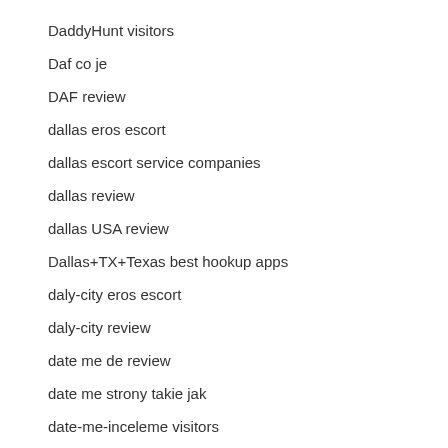DaddyHunt visitors
Daf co je
DAF review
dallas eros escort
dallas escort service companies
dallas review
dallas USA review
Dallas+TX+Texas best hookup apps
daly-city eros escort
daly-city review
date me de review
date me strony takie jak
date-me-inceleme visitors
datehookup cs review
Datehookup review